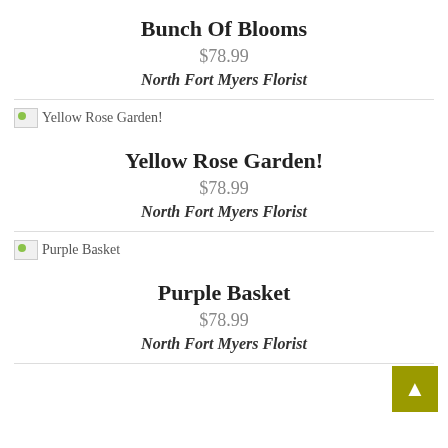Bunch Of Blooms
$78.99
North Fort Myers Florist
[Figure (photo): Broken image placeholder labeled 'Yellow Rose Garden!']
Yellow Rose Garden!
$78.99
North Fort Myers Florist
[Figure (photo): Broken image placeholder labeled 'Purple Basket']
Purple Basket
$78.99
North Fort Myers Florist